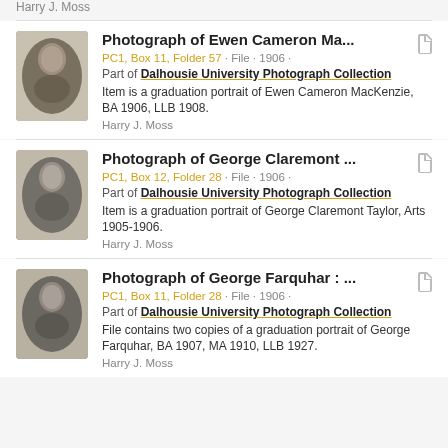Harry J. Moss
[Figure (photo): Oval black-and-white graduation portrait of Ewen Cameron MacKenzie]
Photograph of Ewen Cameron Ma...
PC1, Box 11, Folder 57 · File · 1906 ·
Part of Dalhousie University Photograph Collection
Item is a graduation portrait of Ewen Cameron MacKenzie, BA 1906, LLB 1908.
Harry J. Moss
[Figure (photo): Oval black-and-white graduation portrait of George Claremont Taylor]
Photograph of George Claremont ...
PC1, Box 12, Folder 28 · File · 1906 ·
Part of Dalhousie University Photograph Collection
Item is a graduation portrait of George Claremont Taylor, Arts 1905-1906.
Harry J. Moss
[Figure (photo): Oval black-and-white graduation portrait of George Farquhar]
Photograph of George Farquhar : ...
PC1, Box 11, Folder 28 · File · 1906 ·
Part of Dalhousie University Photograph Collection
File contains two copies of a graduation portrait of George Farquhar, BA 1907, MA 1910, LLB 1927.
Harry J. Moss